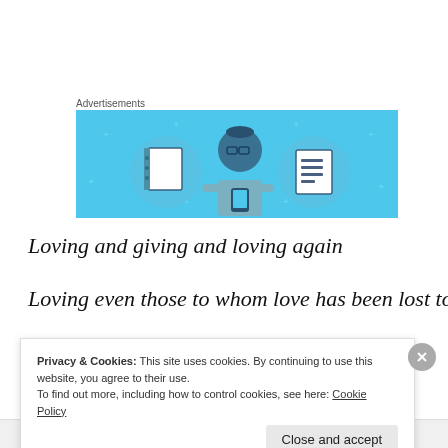Advertisements
[Figure (illustration): Advertisement banner with light blue background showing a cartoon person holding a phone, flanked by two circular icons depicting a notebook/journal and a list/document, with small star/plus decorations.]
Loving and giving and loving again
Loving even those to whom love has been lost to
Privacy & Cookies: This site uses cookies. By continuing to use this website, you agree to their use.
To find out more, including how to control cookies, see here: Cookie Policy
Close and accept